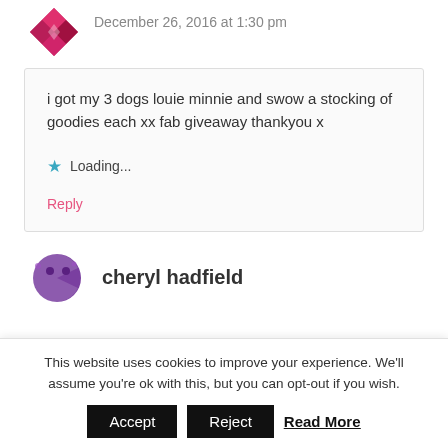December 26, 2016 at 1:30 pm
i got my 3 dogs louie minnie and swow a stocking of goodies each xx fab giveaway thankyou x
Loading...
Reply
cheryl hadfield
This website uses cookies to improve your experience. We'll assume you're ok with this, but you can opt-out if you wish.